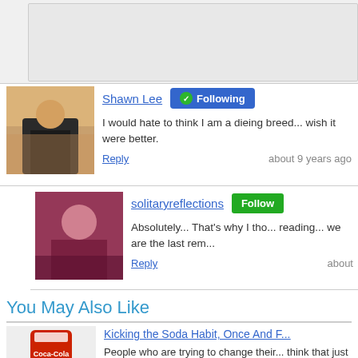[Figure (photo): Top gray bar / partial input area cropped at top]
[Figure (photo): Avatar photo of Shawn Lee]
Shawn Lee
Following
I would hate to think I am a dieing breed... wish it were better.
Reply    about 9 years ago
[Figure (photo): Avatar photo of solitaryreflections]
solitaryreflections
Follow
Absolutely... That's why I tho... reading... we are the last rem...
Reply    about
You May Also Like
[Figure (photo): Thumbnail image of Coca-Cola bottle with cans]
Kicking the Soda Habit, Once And F...
People who are trying to change their... think that just because it is "diet" soda...
By: amie nogrady in Health and Fitness > Obesity